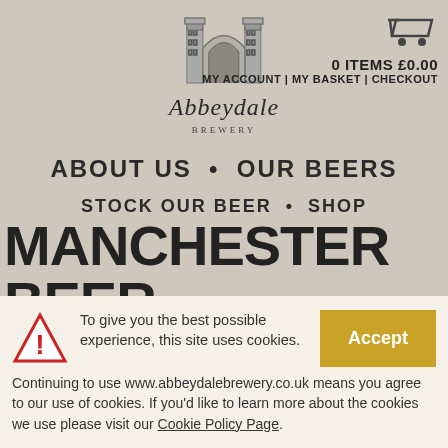[Figure (logo): Abbeydale Brewery logo with architectural arch/gateway illustration above the brand name]
0 ITEMS £0.00 | MY ACCOUNT | MY BASKET | CHECKOUT
ABOUT US • OUR BEERS
STOCK OUR BEER • SHOP
MANCHESTER BEER FESTIVAL
To give you the best possible experience, this site uses cookies. Continuing to use www.abbeydalebrewery.co.uk means you agree to our use of cookies. If you'd like to learn more about the cookies we use please visit our Cookie Policy Page.